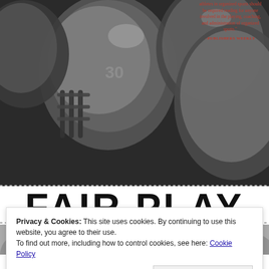[Figure (photo): Black and white photo of football players wearing helmets, viewed from above/below looking up. Upper portion of a book cover.]
athletes in organized sports should be required reading for anyone involved in the playing, coaching, and administration of organized sports."
—PUBLISHERS WEEKLY
FAIR PLAY
HOW LGBT ATHLETES ARE CLAIMING THEIR RIGHTFUL PLACE IN SPORTS
Privacy & Cookies: This site uses cookies. By continuing to use this website, you agree to their use.
To find out more, including how to control cookies, see here: Cookie Policy
Close and accept